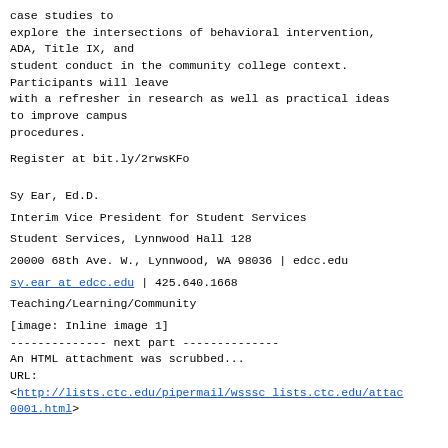case studies to
explore the intersections of behavioral intervention,
ADA, Title IX, and
student conduct in the community college context.
Participants will leave
with a refresher in research as well as practical ideas
to improve campus
procedures.
Register at bit.ly/2rwsKFo
Sy Ear, Ed.D.
Interim Vice President for Student Services
Student Services, Lynnwood Hall 128
20000 68th Ave. W., Lynnwood, WA 98036 | edcc.edu
sy.ear at edcc.edu | 425.640.1668
Teaching/Learning/Community
[image: Inline image 1]
-------------- next part --------------
An HTML attachment was scrubbed...
URL:
<http://lists.ctc.edu/pipermail/wsssc lists.ctc.edu/attac0001.html>